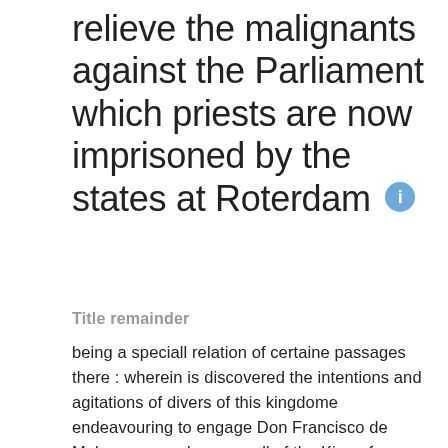relieve the malignants against the Parliament which priests are now imprisoned by the states at Roterdam
Title remainder
being a speciall relation of certaine passages there : wherein is discovered the intentions and agitations of divers of this kingdome endeavouring to engage Don Francisco de Mela, commander generall of the King of Spaines forces in those countries, to set forth sundry Dunkirke Frigots into our seas : as also of divers priests and Iesuites, that lying there for transportation hither, were taken at sea by some of the states-men of war : with 3 barques sent by the said Jesuites for their transportation and the carriage of much ammunition and money intended for New Castle to relieve the malignants against the Parliament which priests are now imprisoned by the states at Roterdam